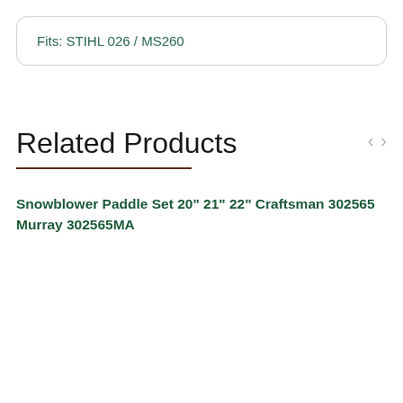Fits: STIHL 026 / MS260
Related Products
Snowblower Paddle Set 20" 21" 22" Craftsman 302565 Murray 302565MA